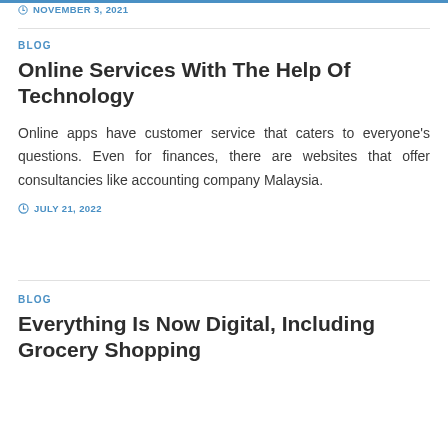NOVEMBER 3, 2021
BLOG
Online Services With The Help Of Technology
Online apps have customer service that caters to everyone's questions. Even for finances, there are websites that offer consultancies like accounting company Malaysia.
JULY 21, 2022
BLOG
Everything Is Now Digital, Including Grocery Shopping